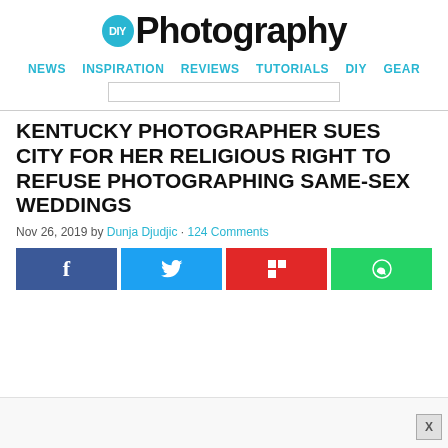DIY Photography
NEWS  INSPIRATION  REVIEWS  TUTORIALS  DIY  GEAR
KENTUCKY PHOTOGRAPHER SUES CITY FOR HER RELIGIOUS RIGHT TO REFUSE PHOTOGRAPHING SAME-SEX WEDDINGS
Nov 26, 2019 by Dunja Djudjic · 124 Comments
[Figure (other): Social share buttons: Facebook, Twitter, Flipboard, WhatsApp]